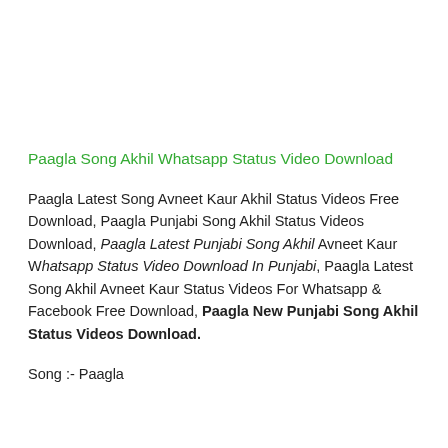Paagla Song Akhil Whatsapp Status Video Download
Paagla Latest Song Avneet Kaur Akhil Status Videos Free Download, Paagla Punjabi Song Akhil Status Videos Download, Paagla Latest Punjabi Song Akhil Avneet Kaur Whatsapp Status Video Download In Punjabi, Paagla Latest Song Akhil Avneet Kaur Status Videos For Whatsapp & Facebook Free Download, Paagla New Punjabi Song Akhil Status Videos Download.
Song :- Paagla